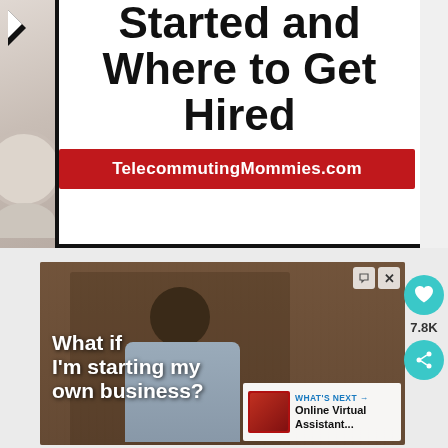[Figure (illustration): Book or infographic cover image showing large bold text 'Started and Where to Get Hired' on white background with a red banner reading TelecommutingMommies.com, with a coffee cup visible on the left side]
[Figure (screenshot): Video advertisement thumbnail showing a smiling bald Black man in a gray shirt seated in a wood-paneled room, with white bold text overlay reading 'What if I'm starting my own business?' An ad indicator icon and close button appear in the top right. A 'What's Next' panel in the bottom right shows 'Online Virtual Assistant...']